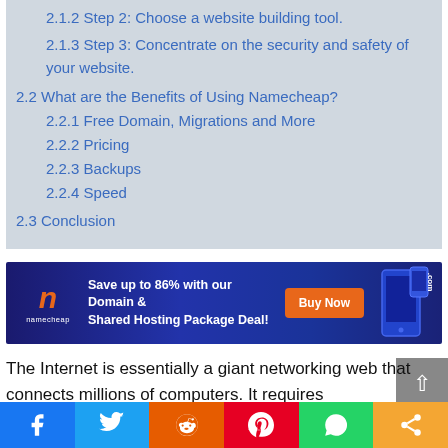2.1.2 Step 2: Choose a website building tool.
2.1.3 Step 3: Concentrate on the security and safety of your website.
2.2 What are the Benefits of Using Namecheap?
2.2.1 Free Domain, Migrations and More
2.2.2 Pricing
2.2.3 Backups
2.2.4 Speed
2.3 Conclusion
[Figure (other): Namecheap advertisement banner: Save up to 86% with our Domain & Shared Hosting Package Deal! Buy Now button, Namecheap logo, decorative device imagery]
The Internet is essentially a giant networking web that connects millions of computers. It requires